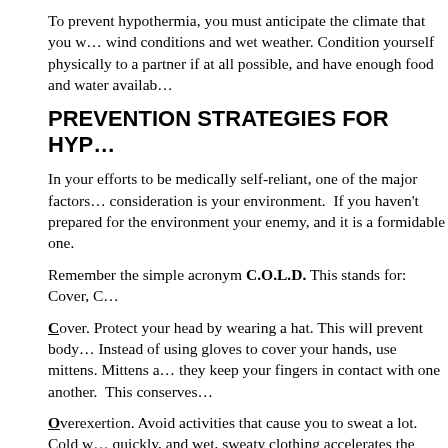To prevent hypothermia, you must anticipate the climate that you w… wind conditions and wet weather. Condition yourself physically to … a partner if at all possible, and have enough food and water availab…
PREVENTION STRATEGIES FOR HYP…
In your efforts to be medically self-reliant, one of the major factors… consideration is your environment. If you haven't prepared for the… environment your enemy, and it is a formidable one.
Remember the simple acronym C.O.L.D. This stands for: Cover, C…
Cover. Protect your head by wearing a hat. This will prevent body… Instead of using gloves to cover your hands, use mittens. Mittens a… they keep your fingers in contact with one another. This conserves…
Overexertion. Avoid activities that cause you to sweat a lot. Cold w… quickly, and wet, sweaty clothing accelerates the process. Rest whe… assess for cold-related changes. Pay careful attention to the status c… members.
Layering. Loose-fitting, lightweight clothing in layers insulate you… woven, water-repellent material for protection against the wind. We… heat better than cotton does. Some synthetic materials work well, a… hands and feet.
Dry. Keep as dry as you can. Get out of wet clothing as soon as pos…